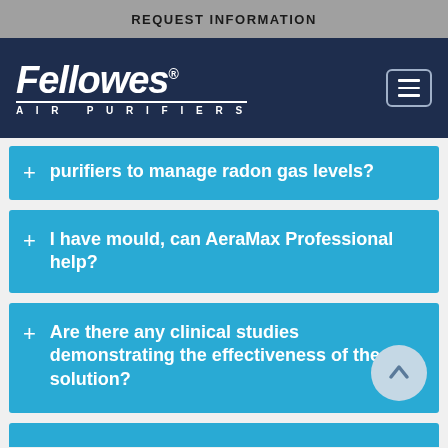REQUEST INFORMATION
[Figure (logo): Fellowes Air Purifiers logo with navigation menu button on dark navy background]
+ purifiers to manage radon gas levels?
+ I have mould, can AeraMax Professional help?
+ Are there any clinical studies demonstrating the effectiveness of the solution?